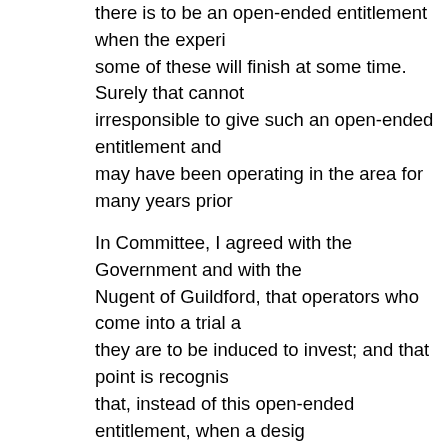there is to be an open-ended entitlement when the experi some of these will finish at some time. Surely that cannot irresponsible to give such an open-ended entitlement and may have been operating in the area for many years prior
In Committee, I agreed with the Government and with the Nugent of Guildford, that operators who come into a trial a they are to be induced to invest; and that point is recognis that, instead of this open-ended entitlement, when a desig should be given entitlement to continue with the road serv However, we go on to say that if the particular service has operator shall have an entitlement to continue the service the service was started.
That appears to us to be a reasonable proposal. If the Go a period, I am sure my noble friends and I would consider complaining about is this open-ended entitlement, first tha irrespective of any other consideration, one will get a licen believe that that is going much too far. I repeat my assura Government will examine the matter and be prepared to a years as a guarantee, or, if the service has not run for a p